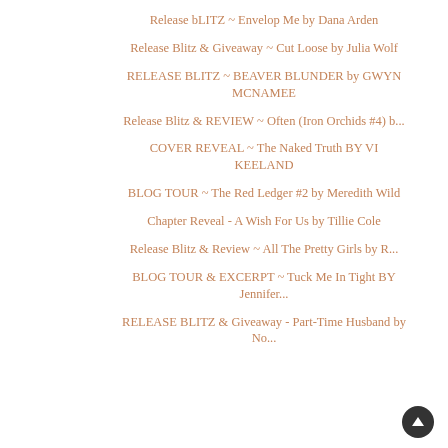Release bLITZ ~ Envelop Me by Dana Arden
Release Blitz & Giveaway ~ Cut Loose by Julia Wolf
RELEASE BLITZ ~ BEAVER BLUNDER by GWYN MCNAMEE
Release Blitz & REVIEW ~ Often (Iron Orchids #4) b...
COVER REVEAL ~ The Naked Truth BY VI KEELAND
BLOG TOUR ~ The Red Ledger #2 by Meredith Wild
Chapter Reveal - A Wish For Us by Tillie Cole
Release Blitz & Review ~ All The Pretty Girls by R...
BLOG TOUR & EXCERPT ~ Tuck Me In Tight BY Jennifer...
RELEASE BLITZ & Giveaway - Part-Time Husband by No...